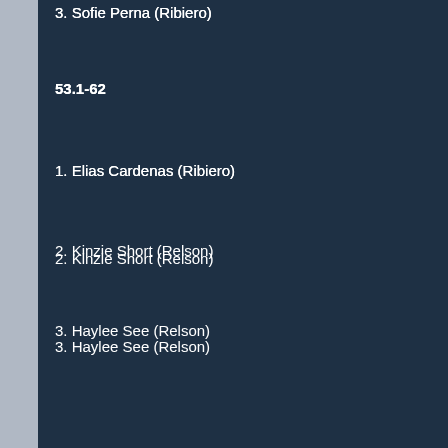3. Sofie Perna (Ribiero)
53.1-62
1. Elias Cardenas (Ribiero)
2. Kinzie Short (Relson)
3. Haylee See (Relson)
70.1-79
1. Ayden Arthur
2. Jayson Rappold (Relson)
Ages 8-10
53 and Below
1. Keri Mabon (Hiles BJJ)
2. Cass Mullins (Ribiero)